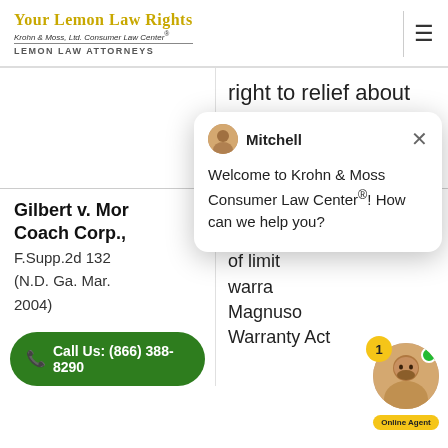Your Lemon Law Rights | Krohn & Moss, Ltd. Consumer Law Center® | Lemon Law Attorneys
right to relief about the speculative level.
Gilbert v. Motor Coach Corp., F.Supp.2d 132 (N.D. Ga. Mar. 2004)
manufacturer alleging breach of limited warranty, Magnuson-Moss Warranty Act
Call Us: (866) 388-8290
[Figure (screenshot): Chat popup from Mitchell agent at Krohn & Moss Consumer Law Center saying 'Welcome to Krohn & Moss Consumer Law Center®! How can we help you?' with close button and online agent badge with photo]